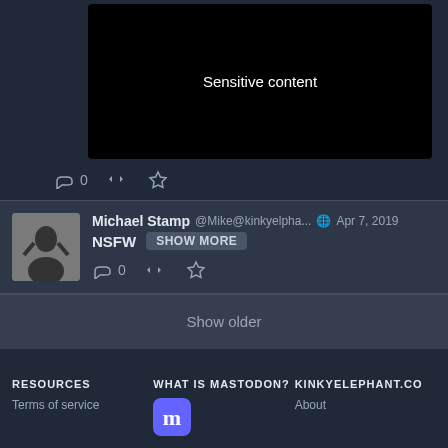[Figure (screenshot): Black sensitive content placeholder image with text 'Sensitive content' in white]
0
Michael Stamp @Mike@kinkyelpha... Apr 7, 2019
NSFW SHOW MORE
0
Show older
RESOURCES
Terms of service
WHAT IS MASTODON?
[Figure (logo): Mastodon logo - M letter in white on rounded purple/blue square]
KINKYELEPHANT.CO
About